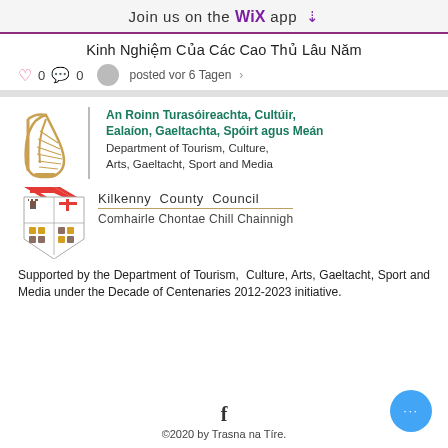Join us on the WiX app ↓
Kinh Nghiệm Của Các Cao Thủ Lâu Năm
0   0   posted vor 6 Tagen >
[Figure (logo): An Roinn Turasóireachta, Cultúir, Ealaíon, Gaeltachta, Spóirt agus Meán — Department of Tourism, Culture, Arts, Gaeltacht, Sport and Media logo with Irish harp]
[Figure (logo): Kilkenny County Council / Comhairle Chontae Chill Chainnigh logo with crest and chevrons]
Supported by the Department of Tourism, Culture, Arts, Gaeltacht, Sport and Media under the Decade of Centenaries 2012-2023 initiative.
©2020 by Trasna na Tíre.